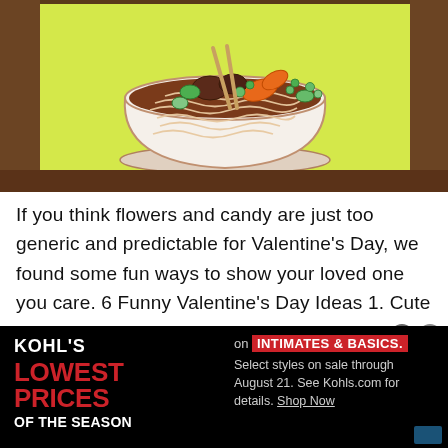[Figure (illustration): Photo of a greeting card with lime-green background displaying an illustrated bowl of noodle soup with vegetables, meat, and chopsticks, placed on a dark wooden surface.]
If you think flowers and candy are just too generic and predictable for Valentine's Day, we found some fun ways to show your loved one you care. 6 Funny Valentine's Day Ideas 1. Cute and quirky Valentine's Day cards. Forget that airbrushed couple walking on the beach – you want something cute and clever. Tiny Bee Cards
[Figure (screenshot): Kohl's advertisement banner with black background. Left side: KOHL'S logo in white, 'LOWEST PRICES OF THE SEASON' in red and white bold text. Right side: 'on INTIMATES & BASICS.' with red highlight, 'Select styles on sale through August 21. See Kohls.com for details. Shop Now' in gray text. Top-right icons: gray circle with lock icon and X button.]